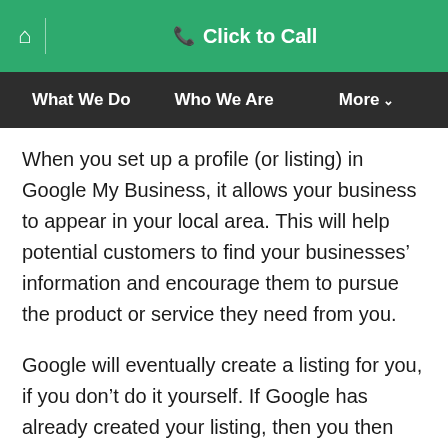🏠 | ☎ Click to Call
What We Do | Who We Are | More ▾
When you set up a profile (or listing) in Google My Business, it allows your business to appear in your local area. This will help potential customers to find your businesses' information and encourage them to pursue the product or service they need from you.
Google will eventually create a listing for you, if you don't do it yourself. If Google has already created your listing, then you then need to claim it.  If you don't claim your profile, Google tries to